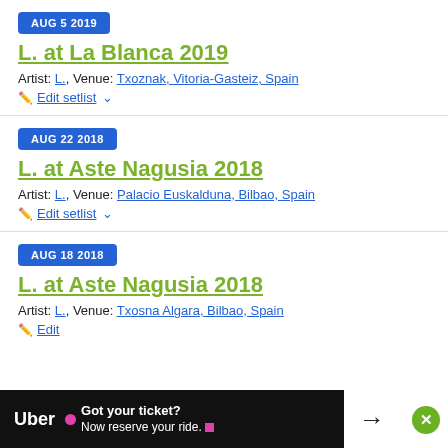AUG 5 2019
L. at La Blanca 2019
Artist: L., Venue: Txoznak, Vitoria-Gasteiz, Spain
Edit setlist
AUG 22 2018
L. at Aste Nagusia 2018
Artist: L., Venue: Palacio Euskalduna, Bilbao, Spain
Edit setlist
AUG 18 2018
L. at Aste Nagusia 2018
Artist: L., Venue: Txosna Algara, Bilbao, Spain
Edit
[Figure (screenshot): Uber advertisement: 'Got your ticket? Now reserve your ride.' with pink dot and pink square icons, arrow button, and green close button]